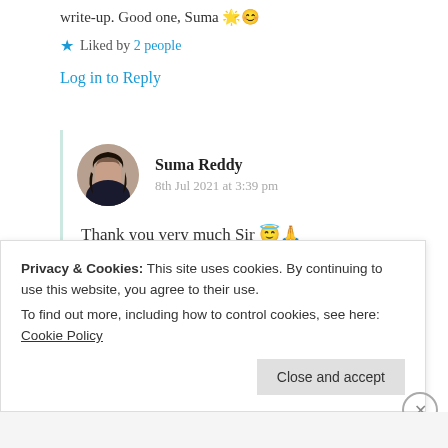write-up. Good one, Suma 🌟😊
★ Liked by 2 people
Log in to Reply
Suma Reddy
8th Jul 2021 at 3:39 pm
Thank you very much Sir 😇🙏
Privacy & Cookies: This site uses cookies. By continuing to use this website, you agree to their use.
To find out more, including how to control cookies, see here: Cookie Policy
Close and accept